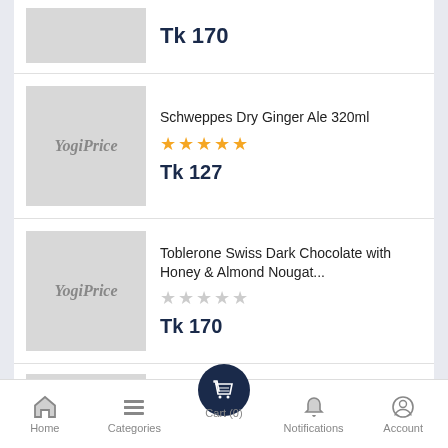[Figure (screenshot): Product listing item (partial top): image placeholder with price Tk 170]
Schweppes Dry Ginger Ale 320ml
★★★★★ (5 stars)
Tk 127
Toblerone Swiss Dark Chocolate with Honey & Almond Nougat...
☆☆☆☆☆ (0 stars)
Tk 170
Home   Categories   Cart (0)   Notifications   Account